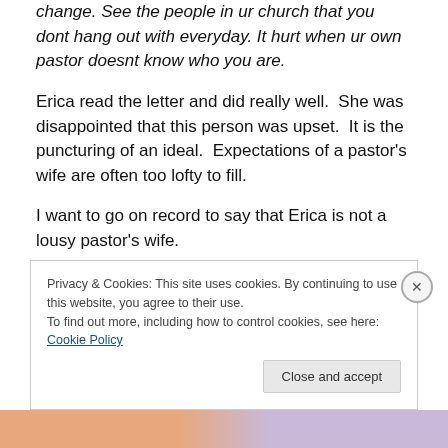change. See the people in ur church that you dont hang out with everyday. It hurt when ur own pastor doesnt know who you are.
Erica read the letter and did really well.  She was disappointed that this person was upset.  It is the puncturing of an ideal.  Expectations of a pastor's wife are often too lofty to fill.
I want to go on record to say that Erica is not a lousy pastor's wife.
Privacy & Cookies: This site uses cookies. By continuing to use this website, you agree to their use.
To find out more, including how to control cookies, see here: Cookie Policy